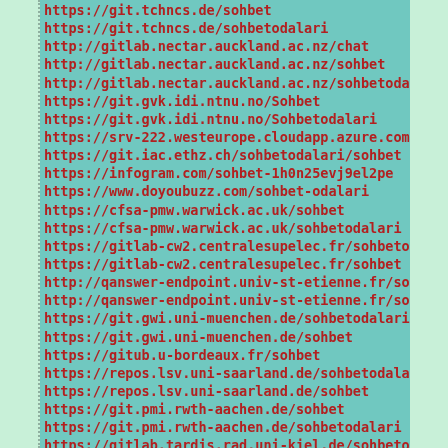https://git.tchncs.de/sohbet
https://git.tchncs.de/sohbetodalari
http://gitlab.nectar.auckland.ac.nz/chat
http://gitlab.nectar.auckland.ac.nz/sohbet
http://gitlab.nectar.auckland.ac.nz/sohbetodalari
https://git.gvk.idi.ntnu.no/Sohbet
https://git.gvk.idi.ntnu.no/Sohbetodalari
https://srv-222.westeurope.cloudapp.azure.com/w
https://git.iac.ethz.ch/sohbetodalari/sohbet
https://infogram.com/sohbet-1h0n25evj9el2pe
https://www.doyoubuzz.com/sohbet-odalari
https://cfsa-pmw.warwick.ac.uk/sohbet
https://cfsa-pmw.warwick.ac.uk/sohbetodalari
https://gitlab-cw2.centralesupelec.fr/sohbetoda
https://gitlab-cw2.centralesupelec.fr/sohbet
http://qanswer-endpoint.univ-st-etienne.fr/sohb
http://qanswer-endpoint.univ-st-etienne.fr/sohb
https://git.gwi.uni-muenchen.de/sohbetodalari
https://git.gwi.uni-muenchen.de/sohbet
https://gitub.u-bordeaux.fr/sohbet
https://repos.lsv.uni-saarland.de/sohbetodalari
https://repos.lsv.uni-saarland.de/sohbet
https://git.pmi.rwth-aachen.de/sohbet
https://git.pmi.rwth-aachen.de/sohbetodalari
https://gitlab.tardis.rad.uni-kiel.de/sohbetoda
https://gitlab.tardis.rad.uni-kiel.de/sohbet
https://www.scoop.it/topic/sohbetodalari-by-soh